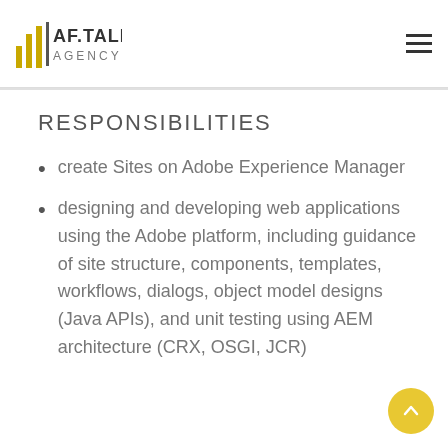AF.TALENT AGENCY
RESPONSIBILITIES
create Sites on Adobe Experience Manager
designing and developing web applications using the Adobe platform, including guidance of site structure, components, templates, workflows, dialogs, object model designs (Java APIs), and unit testing using AEM architecture (CRX, OSGI, JCR)